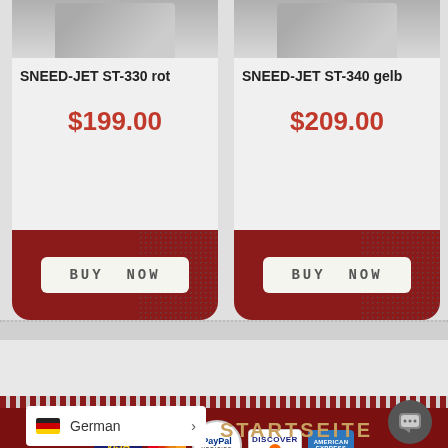[Figure (screenshot): Product card: SNEED-JET ST-330 rot with gray product image at top]
SNEED-JET ST-330 rot
$199.00
[Figure (screenshot): BUY NOW button on dark red background]
[Figure (screenshot): Product card: SNEED-JET ST-340 gelb with gray product image at top]
SNEED-JET ST-340 gelb
$209.00
[Figure (screenshot): BUY NOW button on dark red background]
[Figure (logo): Payment logos: VISA, Mastercard, PayPal Verified, Discover, American Express]
[Figure (screenshot): Language selector showing German flag and text German with arrow]
STARTSEITE